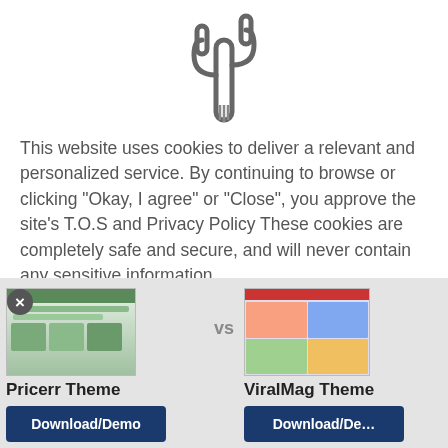[Figure (illustration): Cactus icon in dark outline style, centered at top]
This website uses cookies to deliver a relevant and personalized service. By continuing to browse or clicking "Okay, I agree" or "Close", you approve the site's T.O.S and Privacy Policy These cookies are completely safe and secure, and will never contain any sensitive information.
[Figure (other): Accept cookies button (gray rounded rectangle with white text 'accept cookies')]
(98 votes, average: 2.40 out of 5)
[Figure (screenshot): Bottom comparison bar showing Pricerr Theme vs ViralMag Theme with thumbnail images and Download/Demo buttons]